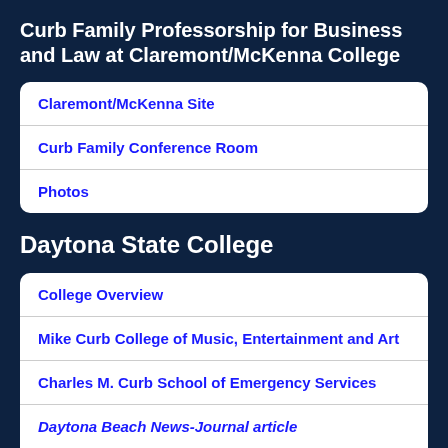Curb Family Professorship for Business and Law at Claremont/McKenna College
Claremont/McKenna Site
Curb Family Conference Room
Photos
Daytona State College
College Overview
Mike Curb College of Music, Entertainment and Art
Charles M. Curb School of Emergency Services
Daytona Beach News-Journal article